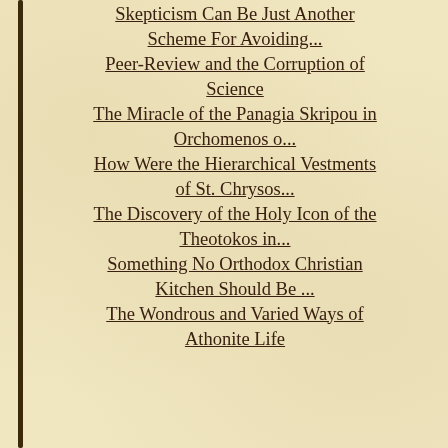Skepticism Can Be Just Another Scheme For Avoiding...
Peer-Review and the Corruption of Science
The Miracle of the Panagia Skripou in Orchomenos o...
How Were the Hierarchical Vestments of St. Chrysos...
The Discovery of the Holy Icon of the Theotokos in...
Something No Orthodox Christian Kitchen Should Be ...
The Wondrous and Varied Ways of Athonite Life